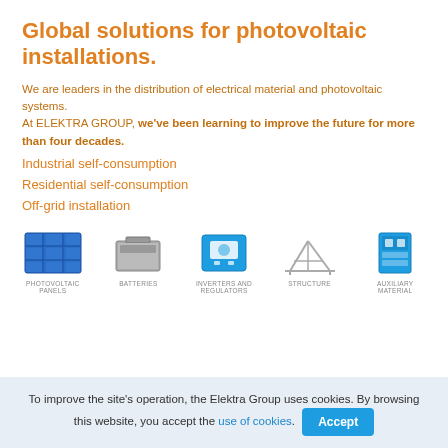Global solutions for photovoltaic installations.
We are leaders in the distribution of electrical material and photovoltaic systems. At ELEKTRA GROUP, we've been learning to improve the future for more than four decades.
Industrial self-consumption
Residential self-consumption
Off-grid installation
[Figure (infographic): Five product category icons with labels: Photovoltaic Panels (solar panel illustration), Batteries (battery unit illustration), Inverters and Regulators (blue box device), Structure (metal frame), Auxiliary Material (blue electrical component)]
To improve the site's operation, the Elektra Group uses cookies. By browsing this website, you accept the use of cookies. Accept